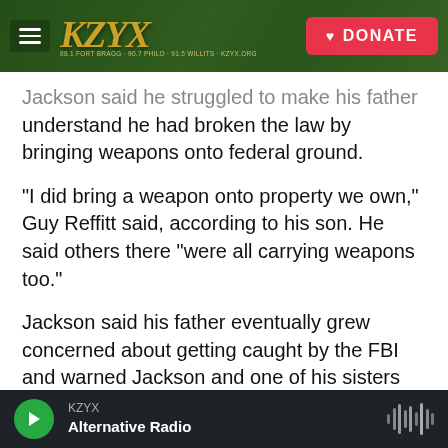KZYX — DONATE
Jackson said he struggled to make his father understand he had broken the law by bringing weapons onto federal ground.
"I did bring a weapon onto property we own," Guy Reffitt said, according to his son. He said others there "were all carrying weapons too."
Jackson said his father eventually grew concerned about getting caught by the FBI and warned Jackson and one of his sisters that "traitors get shot."
"Scared, not really for myself, but for my sister,"
KZYX — Alternative Radio